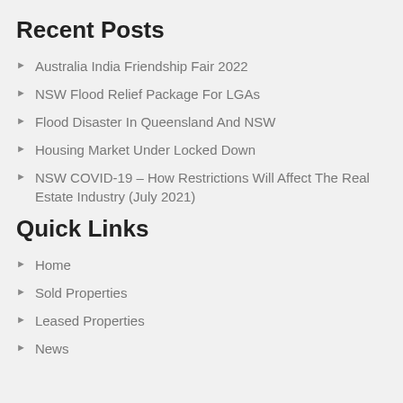Recent Posts
Australia India Friendship Fair 2022
NSW Flood Relief Package For LGAs
Flood Disaster In Queensland And NSW
Housing Market Under Locked Down
NSW COVID-19 – How Restrictions Will Affect The Real Estate Industry (July 2021)
Quick Links
Home
Sold Properties
Leased Properties
News